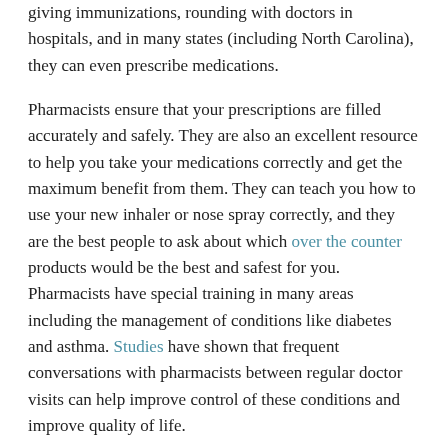giving immunizations, rounding with doctors in hospitals, and in many states (including North Carolina), they can even prescribe medications.
Pharmacists ensure that your prescriptions are filled accurately and safely. They are also an excellent resource to help you take your medications correctly and get the maximum benefit from them. They can teach you how to use your new inhaler or nose spray correctly, and they are the best people to ask about which over the counter products would be the best and safest for you. Pharmacists have special training in many areas including the management of conditions like diabetes and asthma. Studies have shown that frequent conversations with pharmacists between regular doctor visits can help improve control of these conditions and improve quality of life.